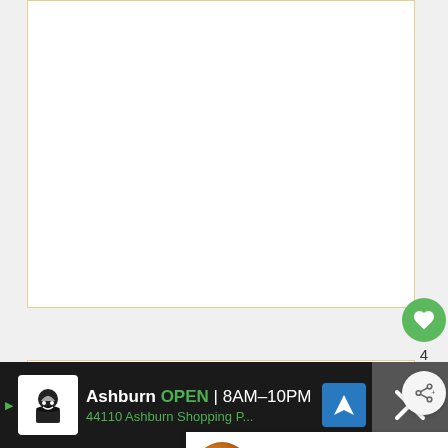[Figure (screenshot): White content box with orange border at top of page, partially visible, representing a form or recipe content area]
[Figure (infographic): Green circular like/favorite button with heart icon, count of 4 below it, and a share button circle below that]
Name *
[Figure (infographic): What's Next panel showing food image thumbnail for Air Fryer Jalapeno... article]
[Figure (screenshot): Advertisement bar at bottom: Ashburn OPEN 8AM-10PM, 44110 Ashburn Shopping P...]